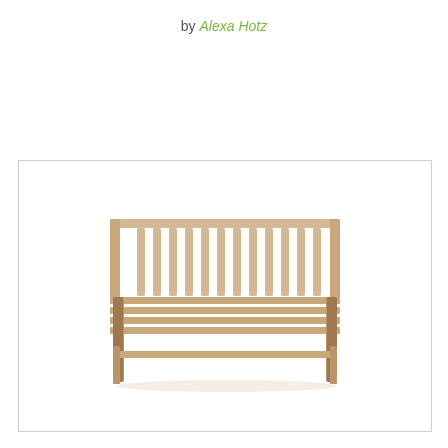by Alexa Hotz
[Figure (photo): A light natural wood bench with slatted back and seat, four legs with cross-rail stretchers, photographed on white background]